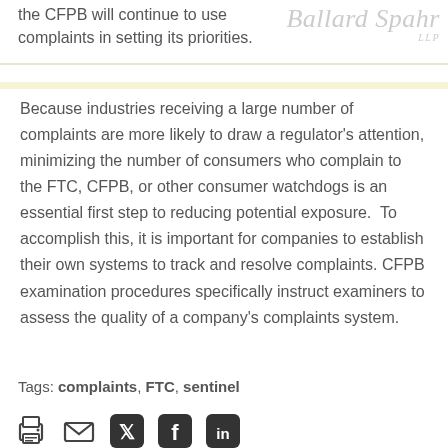the CFPB will continue to use complaints in setting its priorities.
Because industries receiving a large number of complaints are more likely to draw a regulator's attention, minimizing the number of consumers who complain to the FTC, CFPB, or other consumer watchdogs is an essential first step to reducing potential exposure.  To accomplish this, it is important for companies to establish their own systems to track and resolve complaints. CFPB examination procedures specifically instruct examiners to assess the quality of a company's complaints system.
Tags: complaints, FTC, sentinel
[Figure (other): Social sharing icons: print, email, Twitter, Facebook, LinkedIn]